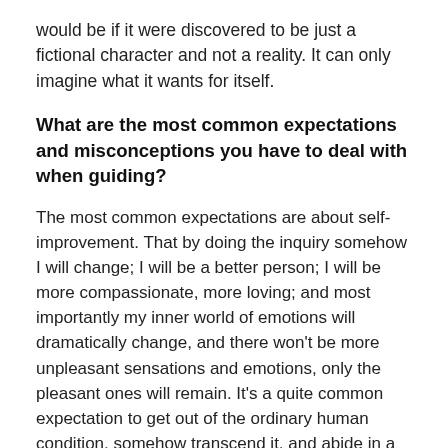would be if it were discovered to be just a fictional character and not a reality. It can only imagine what it wants for itself.
What are the most common expectations and misconceptions you have to deal with when guiding?
The most common expectations are about self-improvement. That by doing the inquiry somehow I will change; I will be a better person; I will be more compassionate, more loving; and most importantly my inner world of emotions will dramatically change, and there won't be more unpleasant sensations and emotions, only the pleasant ones will remain. It's a quite common expectation to get out of the ordinary human condition, somehow transcend it, and abide in a state of bliss, happiness and constant peace.